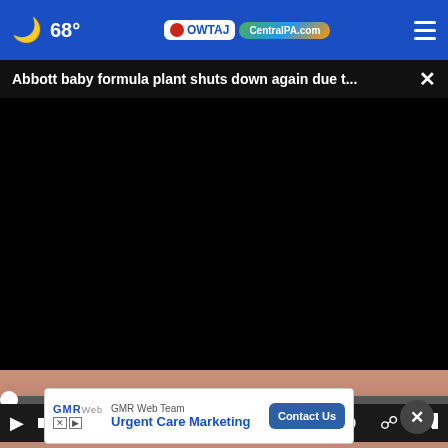68° WTAJ CentralPA.com
Abbott baby formula plant shuts down again due t...  ×
[Figure (screenshot): Black video player area with no content loaded]
[Figure (screenshot): Video player controls bar showing play button, mute icon, 00:00 timestamp, captions icon, and fullscreen icon]
[Figure (photo): Partial view of a person in a white top with arms crossed, background advertisement overlay]
[Figure (screenshot): GMR Web Team advertisement for Urgent Care Marketing with Contact Us button]
Metastatic Breast Cancer Symptoms Everyone